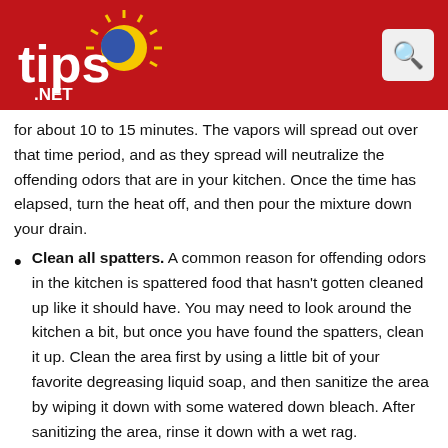[Figure (logo): Tips.Net logo on red header background with search icon]
for about 10 to 15 minutes. The vapors will spread out over that time period, and as they spread will neutralize the offending odors that are in your kitchen. Once the time has elapsed, turn the heat off, and then pour the mixture down your drain.
Clean all spatters. A common reason for offending odors in the kitchen is spattered food that hasn't gotten cleaned up like it should have. You may need to look around the kitchen a bit, but once you have found the spatters, clean it up. Clean the area first by using a little bit of your favorite degreasing liquid soap, and then sanitize the area by wiping it down with some watered down bleach. After sanitizing the area, rinse it down with a wet rag.
Don't forget your disposal. Perhaps one of the most common areas that you can find odors emanating from is the garbage disposal. This means that this is a rather important area that you can't afford to forget. You can purchase odor-eliminating solutions and cleaning aids for your garbage disposal at most grocery and department stores, simply use them according to the directions on the packaging to